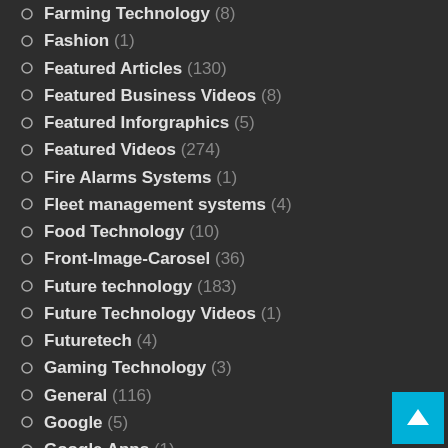Farming Technology (8)
Fashion (1)
Featured Articles (130)
Featured Business Videos (8)
Featured Inforgraphics (5)
Featured Videos (274)
Fire Alarms Systems (1)
Fleet management systems (4)
Food Technology (10)
Front-Image-Carosel (36)
Future technology (183)
Future Technology Videos (1)
Futuretech (4)
Gaming Technology (3)
General (116)
Google (5)
Google Apps (1)
Google places (1)
GPS (6)